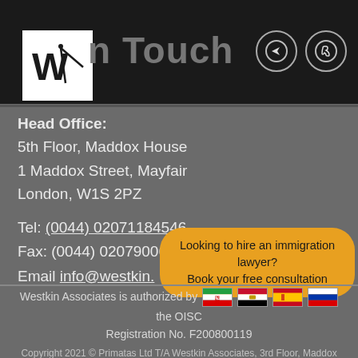In Touch
Head Office:
5th Floor, Maddox House
1 Maddox Street, Mayfair
London, W1S 2PZ
Tel: (0044) 02071184546
Fax: (0044) 02079006020
Email info@westkin.
Looking to hire an immigration lawyer? Book your free consultation
Westkin Associates is authorized by the OISC
Registration No. F200800119
Copyright 2021 © Primatas Ltd T/A Westkin Associates, 3rd Floor, Maddox House, 1 Maddox street, Mayfair, London, W1S 2PZ Tel: (0207) 118 4546 . Immigration Lawyers London Website Design By Amix